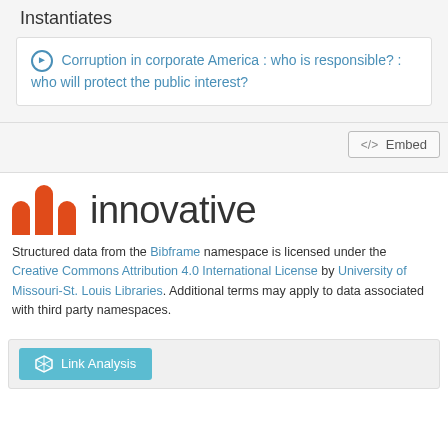Instantiates
Corruption in corporate America : who is responsible? : who will protect the public interest?
</> Embed
[Figure (logo): Innovative Interfaces logo with three red bar icons and the word 'innovative' in dark gray]
Structured data from the Bibframe namespace is licensed under the Creative Commons Attribution 4.0 International License by University of Missouri-St. Louis Libraries. Additional terms may apply to data associated with third party namespaces.
Link Analysis